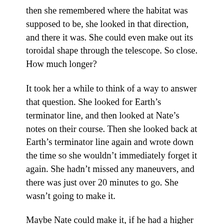then she remembered where the habitat was supposed to be, she looked in that direction, and there it was. She could even make out its toroidal shape through the telescope. So close. How much longer?
It took her a while to think of a way to answer that question. She looked for Earth's terminator line, and then looked at Nate's notes on their course. Then she looked back at Earth's terminator line again and wrote down the time so she wouldn't immediately forget it again. She hadn't missed any maneuvers, and there was just over 20 minutes to go. She wasn't going to make it.
Maybe Nate could make it, if he had a higher tolerance for oxygen deprivation than she did, she thought. Of course, maybe not, and maybe even if Nate could stay awake long enough he wouldn't be